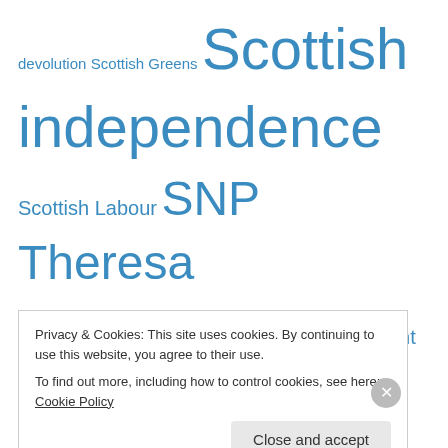devolution Scottish Greens Scottish independence Scottish Labour SNP Theresa May Tony Blair UKIP unemployment workfare WWI Liveblogging Yes Scotland campaign
Tweets
Goodnight, Twitter, everywhere. https://t.co/eYWq6UdKCo 7 hours ago
RT @smolrobots: 1709) Backstorybot. Built in an earlier age of the
Privacy & Cookies: This site uses cookies. By continuing to use this website, you agree to their use.
To find out more, including how to control cookies, see here: Cookie Policy
Close and accept